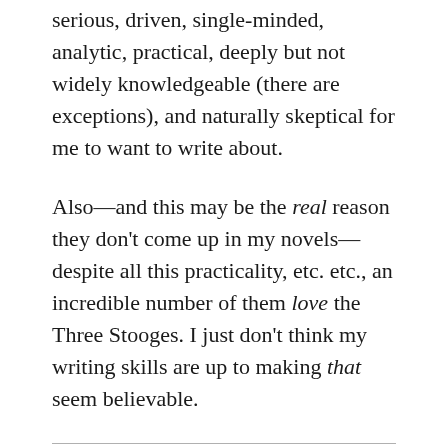serious, driven, single-minded, analytic, practical, deeply but not widely knowledgeable (there are exceptions), and naturally skeptical for me to want to write about.
Also—and this may be the real reason they don't come up in my novels—despite all this practicality, etc. etc., an incredible number of them love the Three Stooges. I just don't think my writing skills are up to making that seem believable.
*Question: Are we supposed to deduce that Dr. Brown burned down the family mansion to get the insurance on it to fund his research? Because this has been suggested to me by